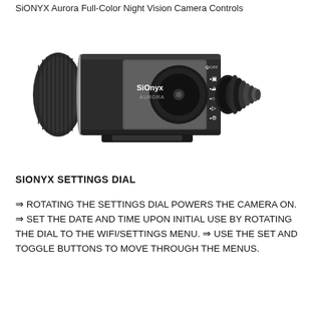SiONYX Aurora Full-Color Night Vision Camera Controls
[Figure (photo): SiONYX Aurora night vision camera, black cylindrical body with settings dial showing icons for photo, video, and WiFi/settings modes, with SiONYX Aurora branding on the side]
SIONYX SETTINGS DIAL
⇒ ROTATING THE SETTINGS DIAL POWERS THE CAMERA ON. ⇒ SET THE DATE AND TIME UPON INITIAL USE BY ROTATING THE DIAL TO THE WIFI/SETTINGS MENU. ⇒ USE THE SET AND TOGGLE BUTTONS TO MOVE THROUGH THE MENUS.